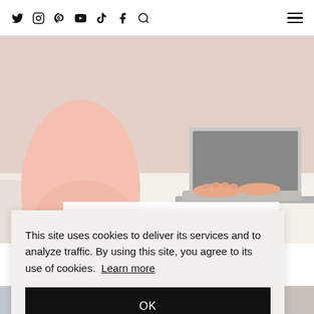Social icons: Twitter, Instagram, Pinterest, YouTube, TikTok, Facebook, Search | Hamburger menu
[Figure (photo): Pregnant woman in pink top sitting at desk working on a laptop computer]
Working While Pregnant – A Guide
This site uses cookies to deliver its services and to analyze traffic. By using this site, you agree to its use of cookies. Learn more
OK